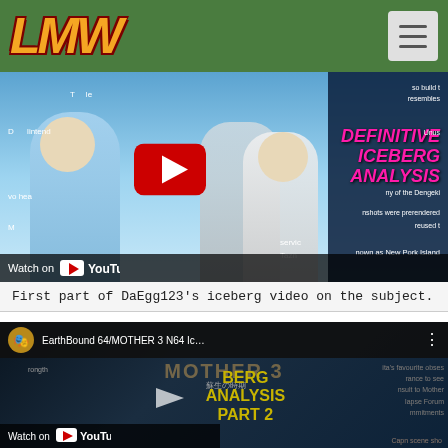LMW (logo) with navigation menu
[Figure (screenshot): YouTube video thumbnail for EarthBound/MOTHER 3 N64 iceberg analysis part 1, showing animated characters and text 'DEFINITIVE ICEBERG ANALYSIS']
First part of DaEgg123's iceberg video on the subject.
[Figure (screenshot): YouTube video thumbnail for EarthBound 64/MOTHER 3 N64 Iceberg Analysis Part 2, showing dark background with MOTHER 3 logo and text 'BERG ANALYSIS PART 2']